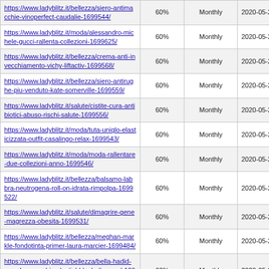| URL | Priority | Change Freq | Last Modified |
| --- | --- | --- | --- |
| https://www.ladyblitz.it/bellezza/siero-antimacchie-vinoperfect-caudalie-1699544/ | 60% | Monthly | 2020-05-29 12:15 |
| https://www.ladyblitz.it/moda/alessandro-michele-gucci-rallenta-collezioni-1699625/ | 60% | Monthly | 2020-05-25 07:59 |
| https://www.ladyblitz.it/bellezza/crema-anti-invecchiamento-vichy-liftactiv-1699568/ | 60% | Monthly | 2020-05-29 11:52 |
| https://www.ladyblitz.it/bellezza/siero-antirughe-piu-venduto-kate-somerville-1699559/ | 60% | Monthly | 2020-05-29 11:41 |
| https://www.ladyblitz.it/salute/cistite-cura-antibiotici-abuso-rischi-salute-1699556/ | 60% | Monthly | 2020-05-23 12:55 |
| https://www.ladyblitz.it/moda/tuta-uniqlo-elasticizzata-outfit-casalingo-relax-1699543/ | 60% | Monthly | 2020-05-22 13:32 |
| https://www.ladyblitz.it/moda/moda-rallentare-due-collezioni-anno-1699546/ | 60% | Monthly | 2020-05-22 13:17 |
| https://www.ladyblitz.it/bellezza/balsamo-labbra-neutrogena-roll-on-idrata-rimpolpa-1699522/ | 60% | Monthly | 2020-05-29 12:53 |
| https://www.ladyblitz.it/salute/dimagrire-gene-magrezza-obesita-1699531/ | 60% | Monthly | 2020-05-22 12:22 |
| https://www.ladyblitz.it/bellezza/meghan-markle-fondotinta-primer-laura-marcier-1699484/ | 60% | Monthly | 2020-05-22 13:18 |
| https://www.ladyblitz.it/bellezza/bella-hadid-maschera-occhi-celestial-black-diamond-1699508/ | 60% | Monthly | 2020-05-29 12:53 |